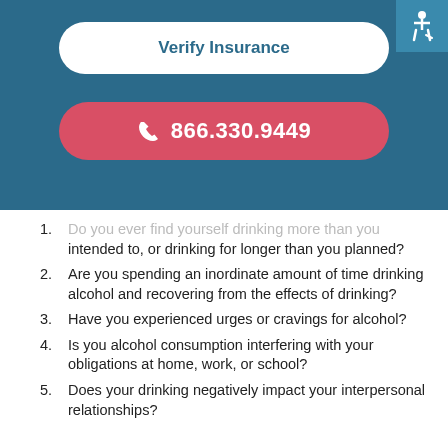Verify Insurance
866.330.9449
Do you ever find yourself drinking more than you intended to, or drinking for longer than you planned?
Are you spending an inordinate amount of time drinking alcohol and recovering from the effects of drinking?
Have you experienced urges or cravings for alcohol?
Is you alcohol consumption interfering with your obligations at home, work, or school?
Does your drinking negatively impact your interpersonal relationships?